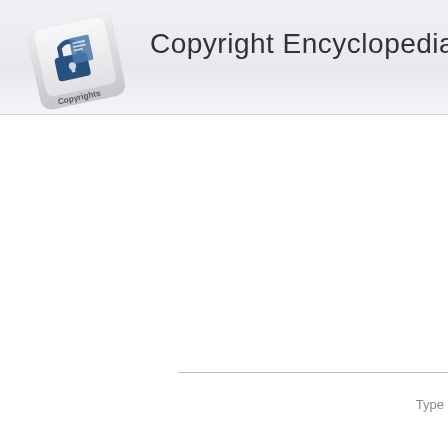[Figure (logo): Keyboard key with a padlock and document icon labeled 'Copyrights', tilted slightly]
Copyright Encyclopedia